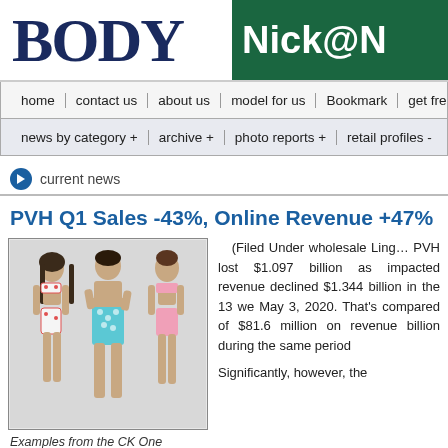[Figure (logo): BODY magazine logo in dark navy serif font]
[Figure (logo): Nick@N green box logo, text partially cropped]
home | contact us | about us | model for us | Bookmark | get fre
news by category + | archive + | photo reports + | retail profiles -
current news
PVH Q1 Sales -43%, Online Revenue +47%
[Figure (photo): Three models wearing CK One underwear: two women in floral bikini sets and a man in floral print trunks]
Examples from the CK One underwear collection.
(Filed Under wholesale Ling... PVH lost $1.097 billion as impacted revenue declined $1.344 billion in the 13 we May 3, 2020. That's compared of $81.6 million on revenue billion during the same period
Significantly, however, the